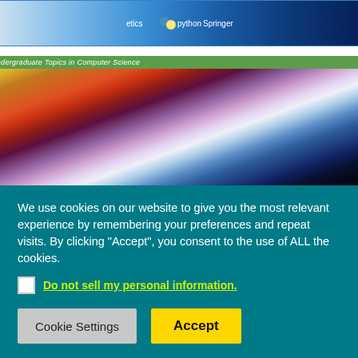[Figure (illustration): Partial top edge of a book cover showing logos: ethics, python, Springer on a blue gradient background]
[Figure (illustration): Book cover for 'Data Structures and Algorithms' by Kent D. Lee and Steve Hubbard, published by Springer in the Undergraduate Topics in Computer Science series. Cover shows a motion-blur abstract image with colorful streaks on a teal background.]
We use cookies on our website to give you the most relevant experience by remembering your preferences and repeat visits. By clicking “Accept”, you consent to the use of ALL the cookies.
Do not sell my personal information.
Cookie Settings
Accept